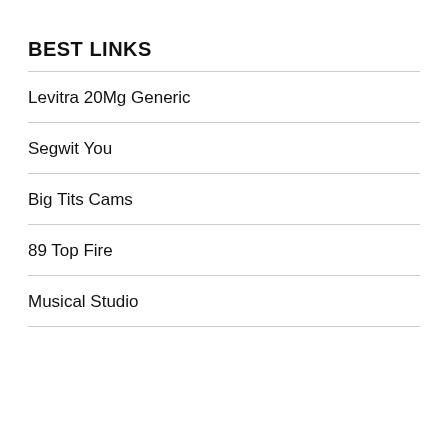BEST LINKS
Levitra 20Mg Generic
Segwit You
Big Tits Cams
89 Top Fire
Musical Studio